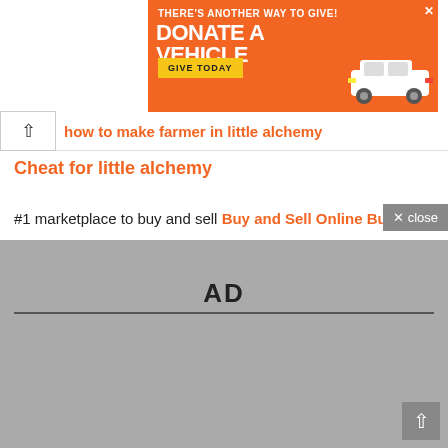[Figure (other): Orange advertisement banner for vehicle donation with text 'THERE'S ANOTHER WAY TO GIVE! DONATE A VEHICLE' and 'GIVE TODAY' button, with a white SUV car image on the right and an X close button.]
how to make farmer in little alchemy
Cheat for little alchemy
#1 marketplace to buy and sell Buy and Sell Online Business
[Figure (other): Grey advertisement placeholder area with 'AD' label and horizontal rule.]